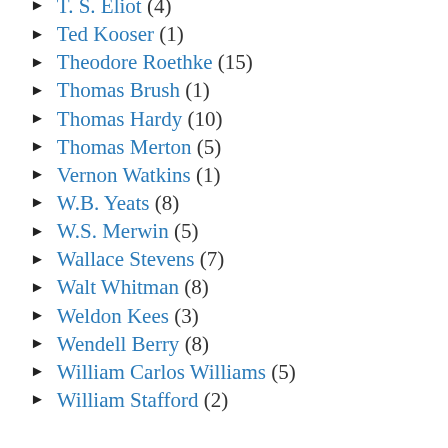T. S. Eliot (4)
Ted Kooser (1)
Theodore Roethke (15)
Thomas Brush (1)
Thomas Hardy (10)
Thomas Merton (5)
Vernon Watkins (1)
W.B. Yeats (8)
W.S. Merwin (5)
Wallace Stevens (7)
Walt Whitman (8)
Weldon Kees (3)
Wendell Berry (8)
William Carlos Williams (5)
William Stafford (2)